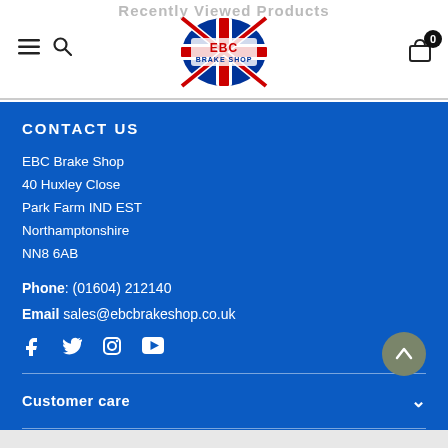Recently Viewed Products
CONTACT US
EBC Brake Shop
40 Huxley Close
Park Farm IND EST
Northamptonshire
NN8 6AB
Phone: (01604) 212140
Email sales@ebcbrakeshop.co.uk
Customer care
Information